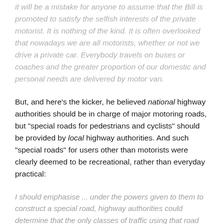it will be a mistake for anyone to assume that the Bill is promoted to satisfy the selfish interests of the private motorist. It is nothing of the kind. It is often overlooked that nowadays we are all motorists, whether or not we drive a private car. Everybody travels on buses or coaches and the greater proportion of our domestic and personal needs are delivered by motor van.
But, and here's the kicker, he believed national highway authorities should be in charge of major motoring roads, but "special roads for pedestrians and cyclists" should be provided by local highway authorities. And such "special roads" for users other than motorists were clearly deemed to be recreational, rather than everyday practical:
I should emphasise ... under the powers given to them to construct a special road, highway authorities could determine that the only classes of traffic using that road should be motor vehicles. These same powers can —and,